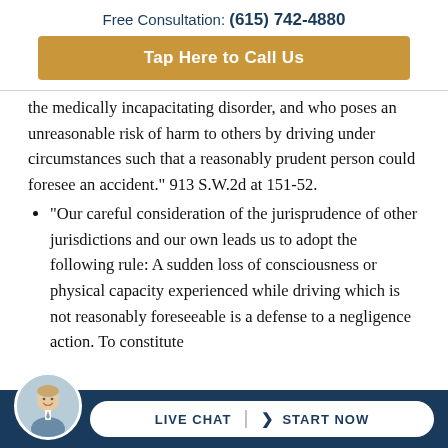Free Consultation: (615) 742-4880
Tap Here to Call Us
the medically incapacitating disorder, and who poses an unreasonable risk of harm to others by driving under circumstances such that a reasonably prudent person could foresee an accident." 913 S.W.2d at 151-52.
"Our careful consideration of the jurisprudence of other jurisdictions and our own leads us to adopt the following rule: A sudden loss of consciousness or physical capacity experienced while driving which is not reasonably foreseeable is a defense to a negligence action. To constitute
[Figure (photo): Circular avatar photo of a man in a suit, smiling]
LIVE CHAT  START NOW